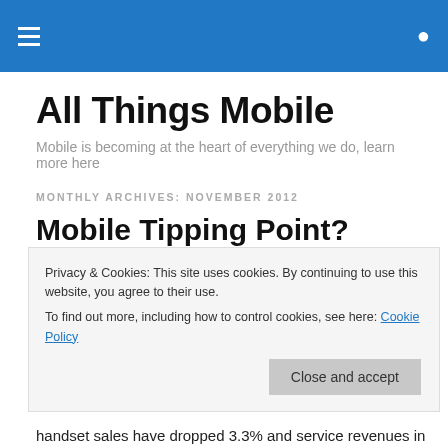All Things Mobile — navigation header bar
All Things Mobile
Mobile is becoming at the heart of everything we do, learn more here
MONTHLY ARCHIVES: NOVEMBER 2012
Mobile Tipping Point? Handset Sales, voice and SMS all down
Privacy & Cookies: This site uses cookies. By continuing to use this website, you agree to their use.
To find out more, including how to control cookies, see here: Cookie Policy
handset sales have dropped 3.3% and service revenues in